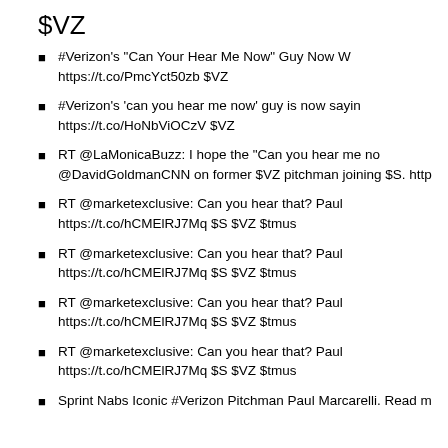$VZ
#Verizon's "Can Your Hear Me Now" Guy Now … https://t.co/PmcYct50zb $VZ
#Verizon's 'can you hear me now' guy is now sayin… https://t.co/HoNbViOCzV $VZ
RT @LaMonicaBuzz: I hope the "Can you hear me no… @DavidGoldmanCNN on former $VZ pitchman joining $S. http…
RT @marketexclusive: Can you hear that? Paul … https://t.co/hCMElRJ7Mq $S $VZ $tmus
RT @marketexclusive: Can you hear that? Paul … https://t.co/hCMElRJ7Mq $S $VZ $tmus
RT @marketexclusive: Can you hear that? Paul … https://t.co/hCMElRJ7Mq $S $VZ $tmus
RT @marketexclusive: Can you hear that? Paul … https://t.co/hCMElRJ7Mq $S $VZ $tmus
Sprint Nabs Iconic #Verizon Pitchman Paul Marcarelli. Read m…